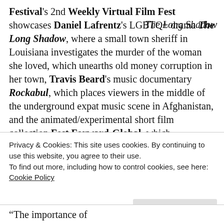Festival's 2nd Weekly Virtual Film Fest showcases Daniel Lafrentz's LGBTQ+ drama The Long Shadow, where a small town sheriff in Louisiana investigates the murder of the woman she loved, which unearths old money corruption in her town, Travis Beard's music documentary Rockabul, which places viewers in the middle of the underground expat music scene in Afghanistan, and the animated/experimental short film collection Fest Forward-Global, which
The Long Shadow
Privacy & Cookies: This site uses cookies. By continuing to use this website, you agree to their use.
To find out more, including how to control cookies, see here: Cookie Policy
Close and accept
“The importance of